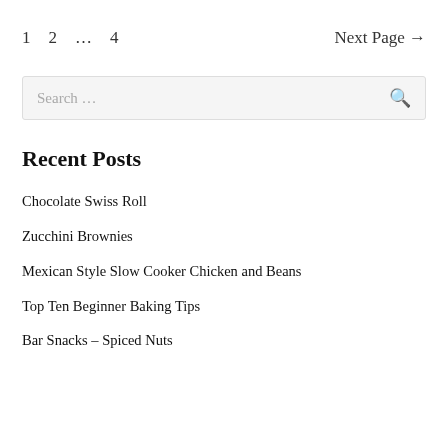1   2   …   4   Next Page →
Search …
Recent Posts
Chocolate Swiss Roll
Zucchini Brownies
Mexican Style Slow Cooker Chicken and Beans
Top Ten Beginner Baking Tips
Bar Snacks – Spiced Nuts